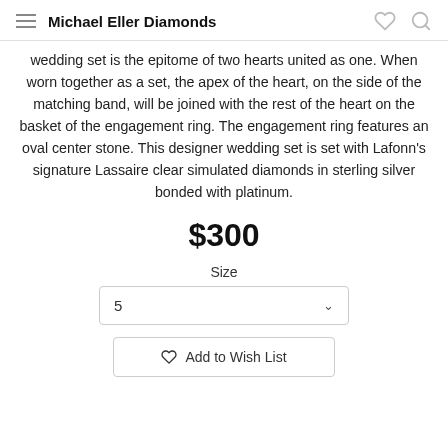Michael Eller Diamonds
wedding set is the epitome of two hearts united as one. When worn together as a set, the apex of the heart, on the side of the matching band, will be joined with the rest of the heart on the basket of the engagement ring. The engagement ring features an oval center stone. This designer wedding set is set with Lafonn's signature Lassaire clear simulated diamonds in sterling silver bonded with platinum.
$300
Size
5
Add to Wish List